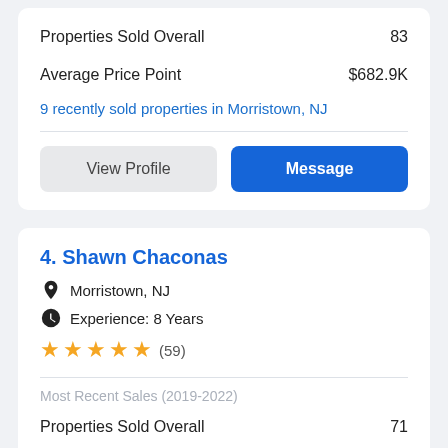Properties Sold Overall    83
Average Price Point    $682.9K
9 recently sold properties in Morristown, NJ
View Profile
Message
4. Shawn Chaconas
Morristown, NJ
Experience: 8 Years
★★★★★ (59)
Most Recent Sales (2019-2022)
Properties Sold Overall    71
Average Price Point    $466.8K